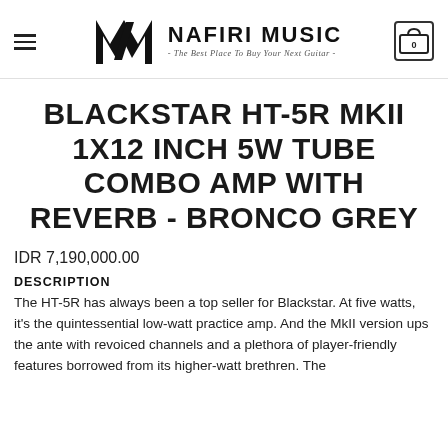NAFIRI MUSIC - The Best Place To Buy Your Next Guitar -
BLACKSTAR HT-5R MKII 1X12 INCH 5W TUBE COMBO AMP WITH REVERB - BRONCO GREY
IDR 7,190,000.00
DESCRIPTION
The HT-5R has always been a top seller for Blackstar. At five watts, it's the quintessential low-watt practice amp. And the MkII version ups the ante with revoiced channels and a plethora of player-friendly features borrowed from its higher-watt brethren. The